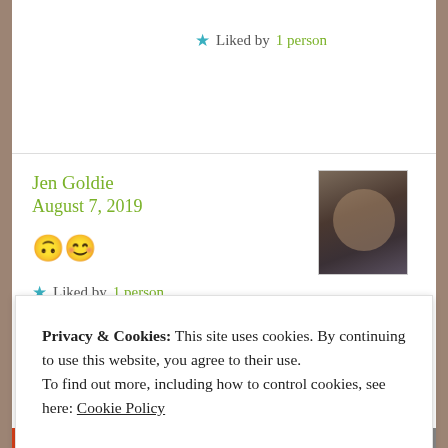★ Liked by 1 person
Jen Goldie
August 7, 2019
[Figure (photo): Avatar photo of Jen Goldie, a person with glasses and a hat, dark background]
🙃😊
★ Liked by 1 person
Privacy & Cookies: This site uses cookies. By continuing to use this website, you agree to their use.
To find out more, including how to control cookies, see here: Cookie Policy
Close and accept